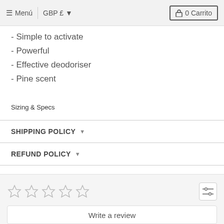≡ Menú | GBP £ ▾   🔒 0 Carrito
- Simple to activate
- Powerful
- Effective deodoriser
- Pine scent
Sizing & Specs
SHIPPING POLICY ▾
REFUND POLICY ▾
PREORDERS AND BACKORDERS ▾
☆☆☆☆☆
Write a review